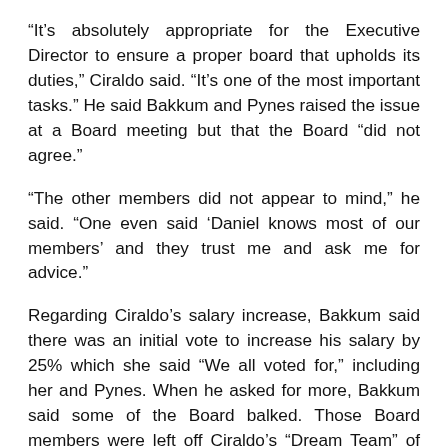“It’s absolutely appropriate for the Executive Director to ensure a proper board that upholds its duties,” Ciraldo said. “It’s one of the most important tasks.” He said Bakkum and Pynes raised the issue at a Board meeting but that the Board “did not agree.”
“The other members did not appear to mind,” he said. “One even said ‘Daniel knows most of our members’ and they trust me and ask me for advice.”
Regarding Ciraldo’s salary increase, Bakkum said there was an initial vote to increase his salary by 25% which she said “We all voted for,” including her and Pynes. When he asked for more, Bakkum said some of the Board balked. Those Board members were left off Ciraldo’s “Dream Team” of candidates, she said. “That was a cause for concern.”
Pynes said, “We’re focused on what’s best for the Miami